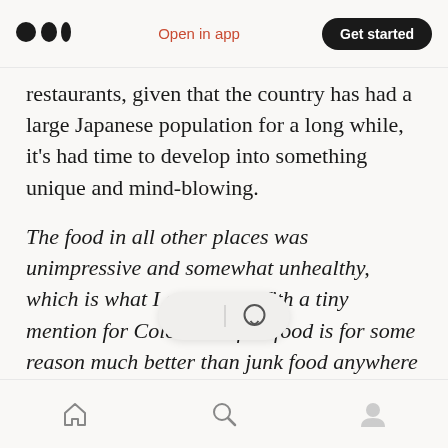Medium logo | Open in app | Get started
restaurants, given that the country has had a large Japanese population for a long while, it's had time to develop into something unique and mind-blowing.
The food in all other places was unimpressive and somewhat unhealthy, which is what I expected. With a tiny mention for Colombian fast food is for some reason much better than junk food anywhere else, even if the brands are the same. A Colombian McDonald matches a European Five Guys.
Bottom navigation bar with home, search, and profile icons